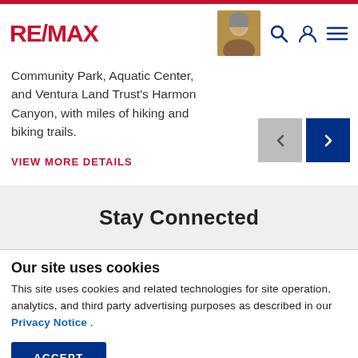RE/MAX
Community Park, Aquatic Center, and Ventura Land Trust's Harmon Canyon, with miles of hiking and biking trails.
VIEW MORE DETAILS
Stay Connected
Our site uses cookies
This site uses cookies and related technologies for site operation, analytics, and third party advertising purposes as described in our Privacy Notice .
ACCEPT